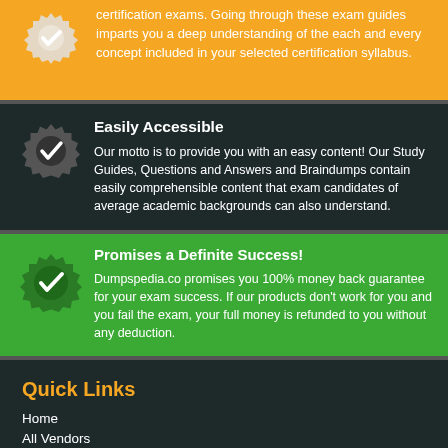certification exams. Going through these exam guides imparts you a deep understanding of the each and every concept included in your selected certification syllabus.
Easily Accessible
Our motto is to provide you with an easy content! Our Study Guides, Questions and Answers and Braindumps contain easily comprehensible content that exam candidates of average academic backgrounds can also understand.
Promises a Definite Success!
Dumpspedia.co promises you 100% money back guarantee for your exam success. If our products don't work for you and you fail the exam, your full money is refunded to you without any deduction.
Quick Links
Home
All Vendors